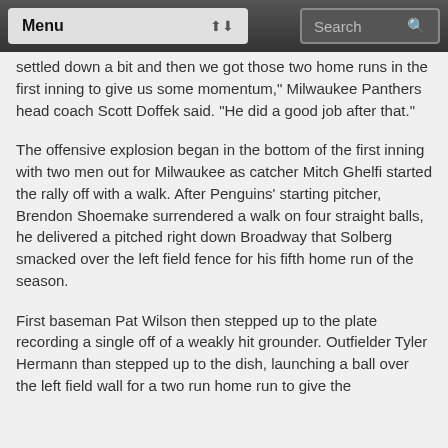Menu  Search
settled down a bit and then we got those two home runs in the first inning to give us some momentum," Milwaukee Panthers head coach Scott Doffek said. "He did a good job after that."
The offensive explosion began in the bottom of the first inning with two men out for Milwaukee as catcher Mitch Ghelfi started the rally off with a walk. After Penguins' starting pitcher, Brendon Shoemake surrendered a walk on four straight balls, he delivered a pitched right down Broadway that Solberg smacked over the left field fence for his fifth home run of the season.
First baseman Pat Wilson then stepped up to the plate recording a single off of a weakly hit grounder. Outfielder Tyler Hermann than stepped up to the dish, launching a ball over the left field wall for a two run home run to give the